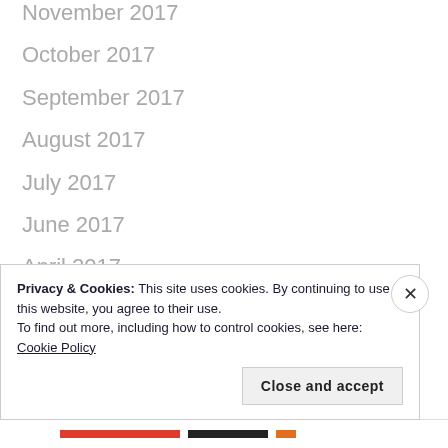November 2017
October 2017
September 2017
August 2017
July 2017
June 2017
April 2017
February 2017
January 2017
Privacy & Cookies: This site uses cookies. By continuing to use this website, you agree to their use.
To find out more, including how to control cookies, see here: Cookie Policy
Close and accept